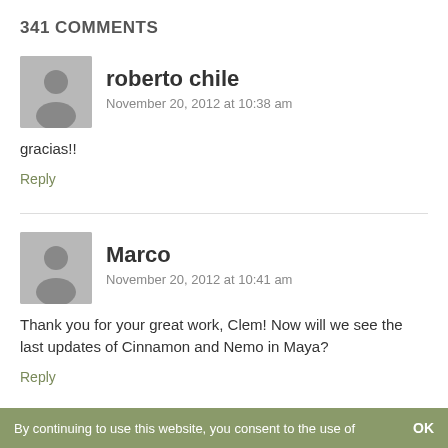341 COMMENTS
roberto chile
November 20, 2012 at 10:38 am
gracias!!
Reply
Marco
November 20, 2012 at 10:41 am
Thank you for your great work, Clem! Now will we see the last updates of Cinnamon and Nemo in Maya?
Reply
By continuing to use this website, you consent to the use of   OK